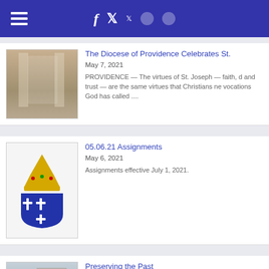Diocese of Providence website header with navigation and social media icons
The Diocese of Providence Celebrates St.
May 7, 2021
PROVIDENCE — The virtues of St. Joseph — faith, d and trust — are the same virtues that Christians ne vocations God has called ....
05.06.21 Assignments
May 6, 2021
Assignments effective July 1, 2021.
Preserving the Past
May 5, 2021